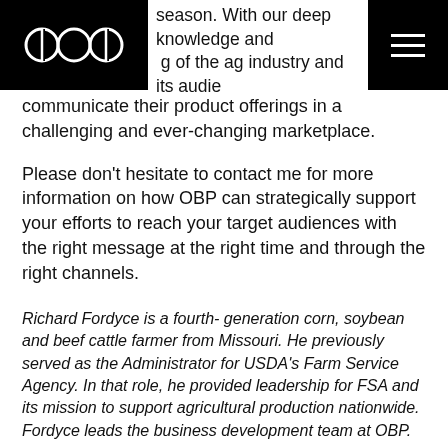OBP logo and navigation header
season. With our deep knowledge and understanding of the ag industry and its audiences, continually working with our client partners to strategically position and communicate their product offerings in a challenging and ever-changing marketplace.
Please don't hesitate to contact me for more information on how OBP can strategically support your efforts to reach your target audiences with the right message at the right time and through the right channels.
Richard Fordyce is a fourth- generation corn, soybean and beef cattle farmer from Missouri. He previously served as the Administrator for USDA's Farm Service Agency. In that role, he provided leadership for FSA and its mission to support agricultural production nationwide. Fordyce leads the business development team at OBP.